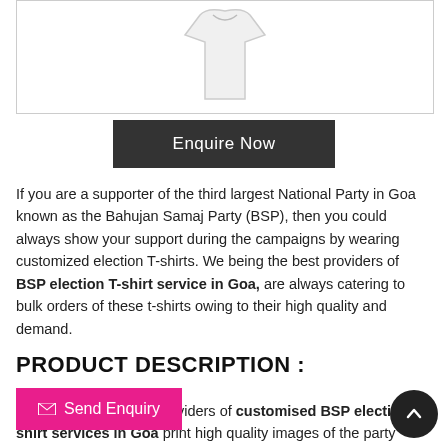[Figure (photo): White t-shirt product image shown partially at top of page within a bordered box]
Enquire Now
If you are a supporter of the third largest National Party in Goa known as the Bahujan Samaj Party (BSP), then you could always show your support during the campaigns by wearing customized election T-shirts. We being the best providers of BSP election T-shirt service in Goa, are always catering to bulk orders of these t-shirts owing to their high quality and demand.
PRODUCT DESCRIPTION :
Send Enquiry
We being the reliable providers of customised BSP election T-shirt services in Goa print high quality images of the party leader logo on the election T-shirts so that you can support the party in full